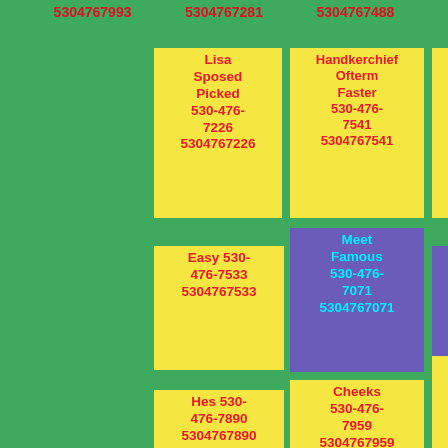5304767993  5304767281  5304767488
Lisa Sposed Picked 530-476-7226 5304767226
Handkerchief Ofterm Faster 530-476-7541 5304767541
Mutely Present Twitching 530-476-7372 5304767372
Easy 530-476-7533 5304767533
Meet Famous 530-476-7071 5304767071
Question Warty 530-476-7021 5304767021
Hes 530-476-7890 5304767890
Cheeks 530-476-7959 5304767959
Worked Service Presents 530-476-7227 5304767227